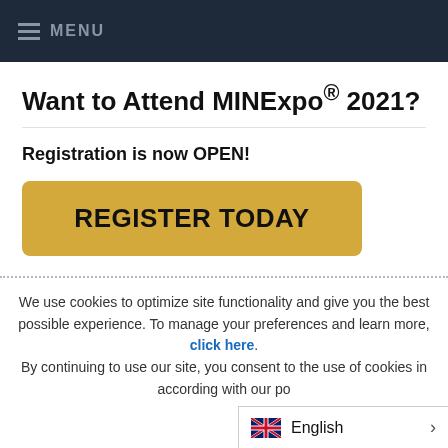MENU
Want to Attend MINExpo® 2021?
Registration is now OPEN!
REGISTER TODAY
We use cookies to optimize site functionality and give you the best possible experience. To manage your preferences and learn more, click here. By continuing to use our site, you consent to the use of cookies in according with our po
English